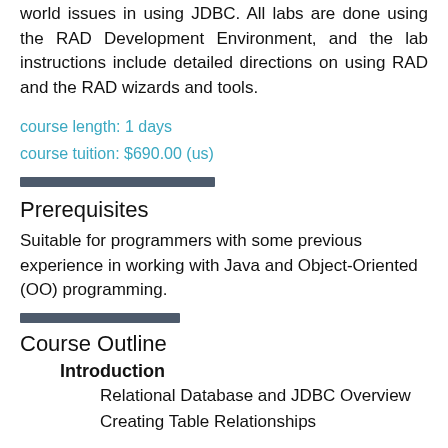world issues in using JDBC. All labs are done using the RAD Development Environment, and the lab instructions include detailed directions on using RAD and the RAD wizards and tools.
course length: 1 days
course tuition: $690.00 (us)
Prerequisites
Suitable for programmers with some previous experience in working with Java and Object-Oriented (OO) programming.
Course Outline
Introduction
Relational Database and JDBC Overview
Creating Table Relationships